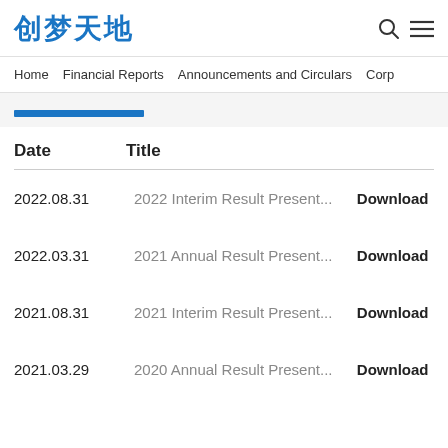创梦天地
Home  Financial Reports  Announcements and Circulars  Corp
| Date | Title |  |
| --- | --- | --- |
| 2022.08.31 | 2022 Interim Result Present... | Download |
| 2022.03.31 | 2021 Annual Result Present... | Download |
| 2021.08.31 | 2021 Interim Result Present... | Download |
| 2021.03.29 | 2020 Annual Result Present... | Download |